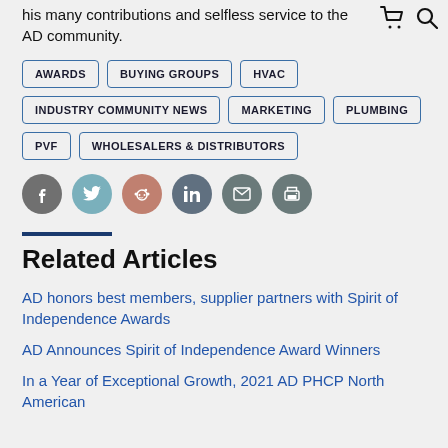his many contributions and selfless service to the AD community.
AWARDS
BUYING GROUPS
HVAC
INDUSTRY COMMUNITY NEWS
MARKETING
PLUMBING
PVF
WHOLESALERS & DISTRIBUTORS
[Figure (infographic): Social share buttons: Facebook, Twitter, Reddit, LinkedIn, Email, Print]
Related Articles
AD honors best members, supplier partners with Spirit of Independence Awards
AD Announces Spirit of Independence Award Winners
In a Year of Exceptional Growth, 2021 AD PHCP North American